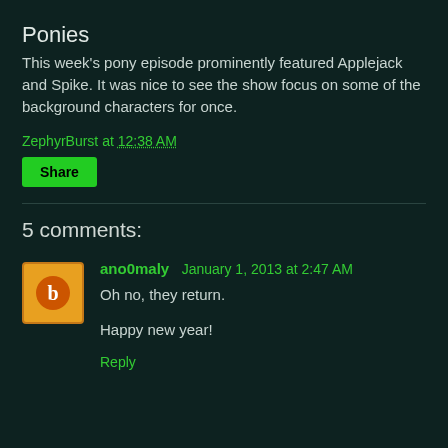Ponies
This week's pony episode prominently featured Applejack and Spike. It was nice to see the show focus on some of the background characters for once.
ZephyrBurst at 12:38 AM
Share
5 comments:
ano0maly  January 1, 2013 at 2:47 AM
Oh no, they return.

Happy new year!
Reply